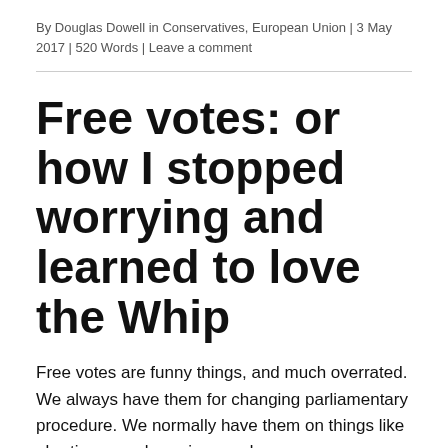By Douglas Dowell in Conservatives, European Union | 3 May 2017 | 520 Words | Leave a comment
Free votes: or how I stopped worrying and learned to love the Whip
Free votes are funny things, and much overrated. We always have them for changing parliamentary procedure. We normally have them on things like abortion, equal marriage and